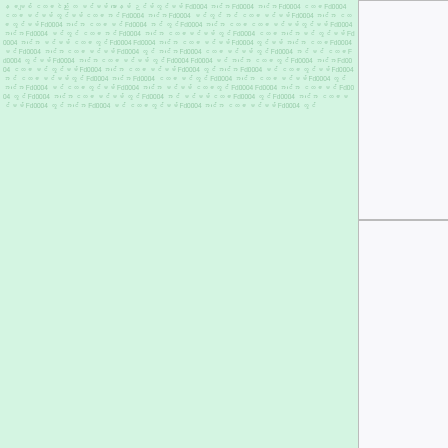[Figure (illustration): Left panel with mint green background filled with repeating small text pattern in light green color]
[Figure (illustration): Top-right cell with blue checkerboard pattern and large white bold letter B]
Fd0004Asase
[Figure (photo): Middle-right tall cell filled with olive/sage green color, appears to be a photo or solid color block]
[Figure (illustration): Bottom-right cell filled with solid magenta/fuchsia color]